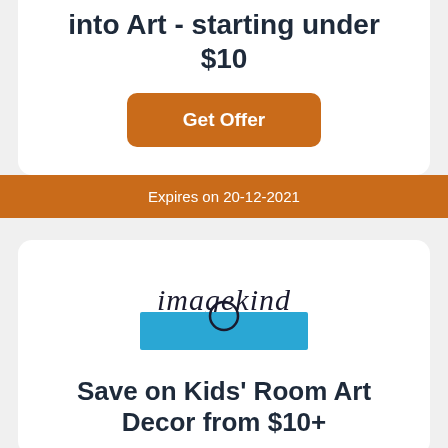into Art - starting under $10
Get Offer
Expires on 20-12-2021
[Figure (logo): Imagekind logo: script text 'imagekind' above a blue rectangle bar]
Save on Kids' Room Art Decor from $10+